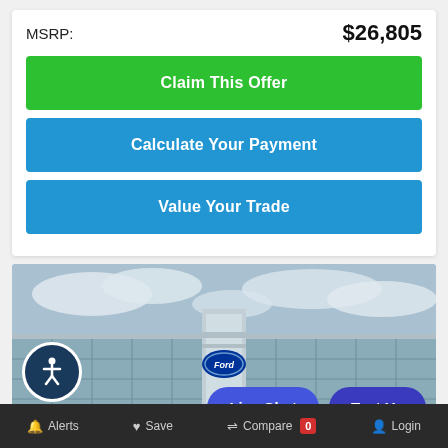MSRP: $26,805
Claim This Offer
Calculate Your Payment
Value Your Trade
[Figure (photo): Ford dealership exterior with glass facade and Ford logo sign, cloudy sky background]
Live Chat
Text Us
Alerts  Save  Compare 0  Login